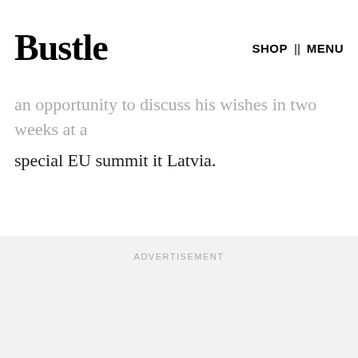not it should remain in the EU. It's not clear what
Bustle  SHOP  |  MENU
s to gain from the EU, bu
an opportunity to discuss his wishes in two weeks at a special EU summit it Latvia.
ADVERTISEMENT